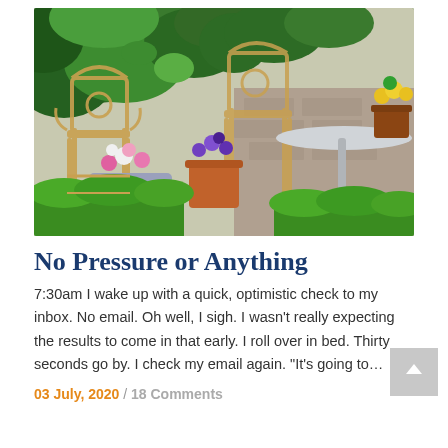[Figure (photo): Outdoor garden scene with ornate metal chairs and a round table, multiple potted plants with colorful flowers (pink, white, purple, yellow), green ivy on stone wall in background, trimmed green hedges in foreground.]
No Pressure or Anything
7:30am I wake up with a quick, optimistic check to my inbox. No email. Oh well, I sigh. I wasn’t really expecting the results to come in that early. I roll over in bed. Thirty seconds go by. I check my email again. “It’s going to…
03 July, 2020 / 18 Comments